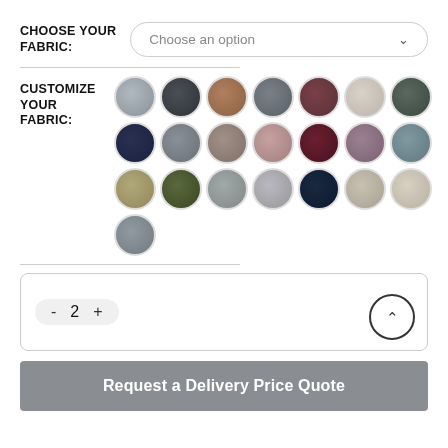CHOOSE YOUR FABRIC:
Choose an option
[Figure (other): Grid of 22 circular fabric swatches in various colors (grays, browns, blues, reds, greens, creams) for fabric customization]
CUSTOMIZE YOUR FABRIC:
- 2 +
Request a Delivery Price Quote